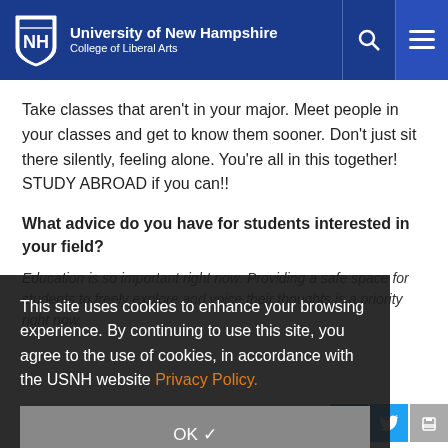University of New Hampshire — College of Liberal Arts
Take classes that aren't in your major. Meet people in your classes and get to know them sooner. Don't just sit there silently, feeling alone. You're all in this together! STUDY ABROAD if you can!!
What advice do you have for students interested in your field?
Education is so important right now. Providing a safe space for students to freely explore and voice their thoughts is a priority right now.
This site uses cookies to enhance your browsing experience. By continuing to use this site, you agree to the use of cookies, in accordance with the USNH website Privacy Policy.